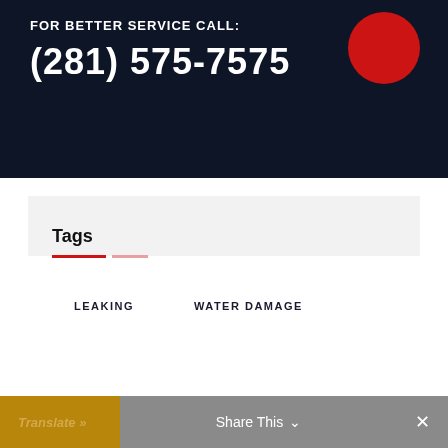FOR BETTER SERVICE CALL:
(281) 575-7575
Tags
LEAKING
WATER DAMAGE
Translate » | Share This ∨ | ✕